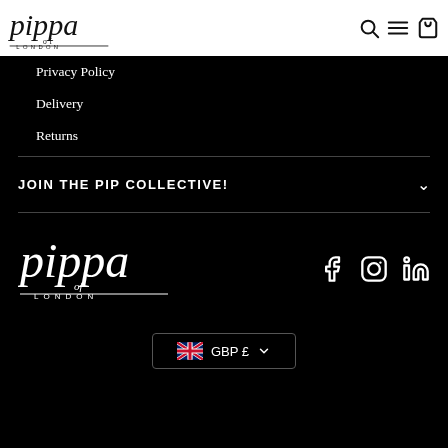Pippa of London - navigation bar with logo, search, menu, cart icons
Privacy Policy
Delivery
Returns
JOIN THE PIP COLLECTIVE!
[Figure (logo): Pippa of London logo in white on black background]
[Figure (infographic): Social media icons: Facebook, Instagram, LinkedIn]
GBP £